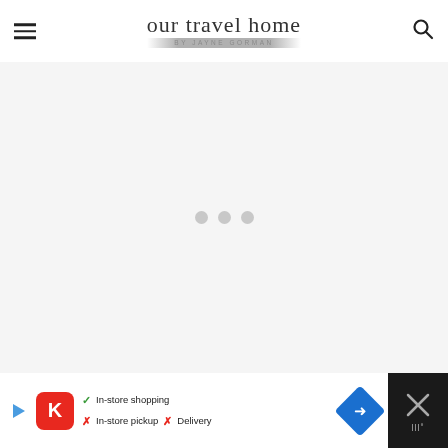our travel home BY JAYNE GORMAN
[Figure (other): Large light grey placeholder ad area with three grey loading dots centered]
[Figure (other): Bottom advertisement banner showing Kroger store info: In-store shopping (checkmark), In-store pickup (X), Delivery (X), with navigation/direction icon and close button on right]